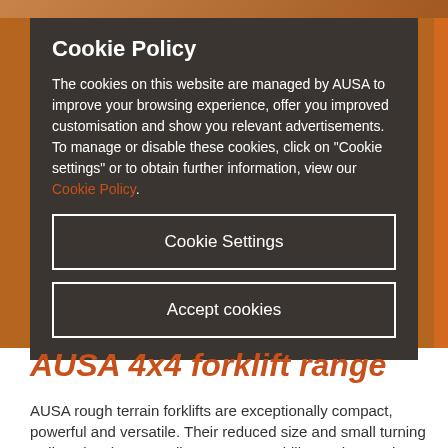[Figure (photo): Background image showing AUSA forklift equipment in orange/brown tones, partially visible at top]
Cookie Policy
The cookies on this website are managed by AUSA to improve your browsing experience, offer you improved customisation and show you relevant advertisements. To manage or disable these cookies, click on "Cookie settings" or to obtain further information, view our Cookie Policy.
Cookie Settings
Accept cookies
AUSA 4x4 forklift range
AUSA rough terrain forklifts are exceptionally compact, powerful and versatile. Their reduced size and small turning radius give them excellent manoeuvrability on the toughest and steepest terrains. Add to this their exceptional capacity to